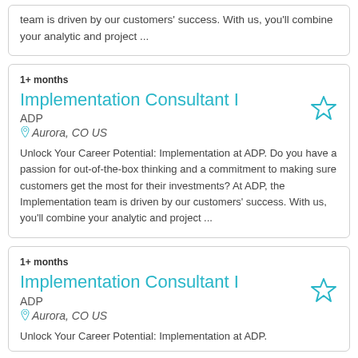team is driven by our customers' success. With us, you'll combine your analytic and project ...
1+ months
Implementation Consultant I
ADP
Aurora, CO US
Unlock Your Career Potential: Implementation at ADP. Do you have a passion for out-of-the-box thinking and a commitment to making sure customers get the most for their investments? At ADP, the Implementation team is driven by our customers' success. With us, you'll combine your analytic and project ...
1+ months
Implementation Consultant I
ADP
Aurora, CO US
Unlock Your Career Potential: Implementation at ADP.